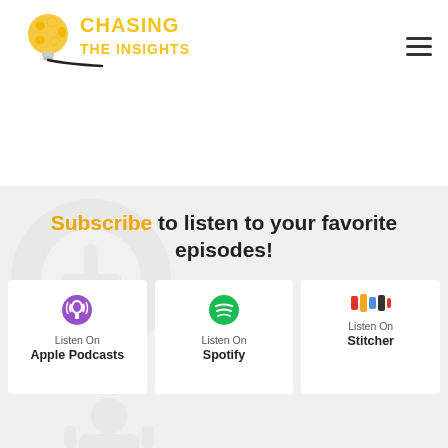[Figure (logo): Chasing The Insights podcast logo with lightbulb and yellow text]
Subscribe to listen to your favorite episodes!
[Figure (logo): Apple Podcasts icon - purple podcast symbol]
Listen On
Apple Podcasts
[Figure (logo): Spotify icon - green circle with sound wave]
Listen On
Spotify
[Figure (logo): Stitcher icon - colorful bars]
Listen On
Stitcher